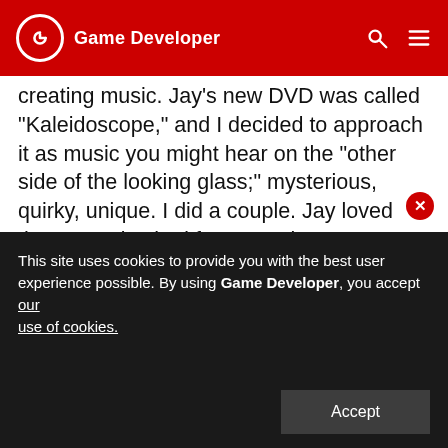Game Developer
creating music. Jay's new DVD was called "Kaleidoscope," and I decided to approach it as music you might hear on the "other side of the looking glass;" mysterious, quirky, unique.  I did a couple.  Jay loved them... and asked for a couple more... then, a couple more.  In the end, I ended up writing and producing 15 pieces of music, of various lengths.  When it was all said and done... wow.  I had actually produced music.

When I finished up the last of them, Jay made one more request. "These kick ass!! You really need to
This site uses cookies to provide you with the best user experience possible. By using Game Developer, you accept our use of cookies.